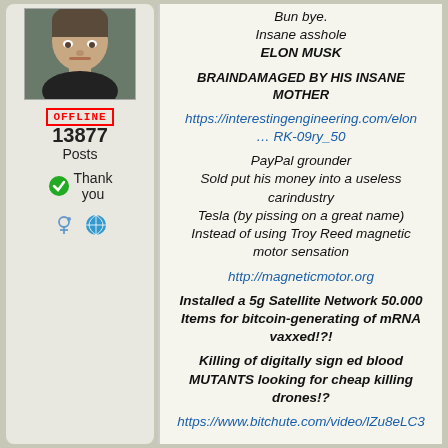[Figure (photo): Profile photo of a man with short hair wearing a dark shirt]
OFFLINE
13877 Posts
Thank you
Bun bye.
Insane asshole
ELON MUSK
BRAINDAMAGED BY HIS INSANE MOTHER
https://interestingengineering.com/elon … RK-09ry_50
PayPal grounder
Sold put his money into a useless carindustry
Tesla (by pissing on a great name)
Instead of using Troy Reed magnetic motor sensation
http://magneticmotor.org
Installed a 5g Satellite Network 50.000 Items for bitcoin-generating of mRNA vaxxed!?!
Killing of digitally sign ed blood MUTANTS looking for cheap killing drones!?
https://www.bitchute.com/video/lZu8eLC3